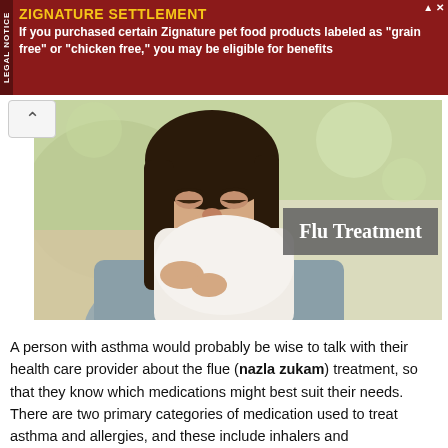[Figure (infographic): Red advertisement banner for Zignature Settlement with 'LEGAL NOTICE' side label, yellow title text 'ZIGNATURE SETTLEMENT' and white body text about pet food eligibility for benefits]
[Figure (photo): Woman blowing her nose into a tissue, wearing a grey sweater, with a 'Flu Treatment' label overlay on grey background]
A person with asthma would probably be wise to talk with their health care provider about the flue (nazla zukam) treatment, so that they know which medications might best suit their needs. There are two primary categories of medication used to treat asthma and allergies, and these include inhalers and bronchodilators. Some of the best flue causes and treatment options for each include.